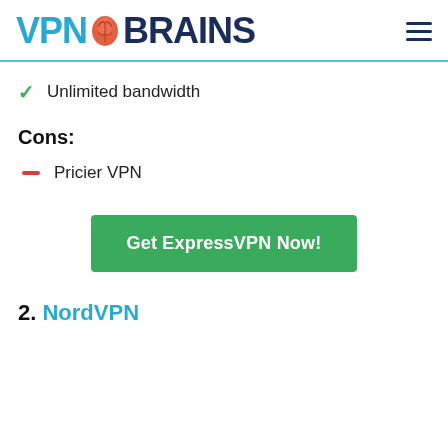VPNBRAINS
Unlimited bandwidth
Cons:
Pricier VPN
Get ExpressVPN Now!
2. NordVPN